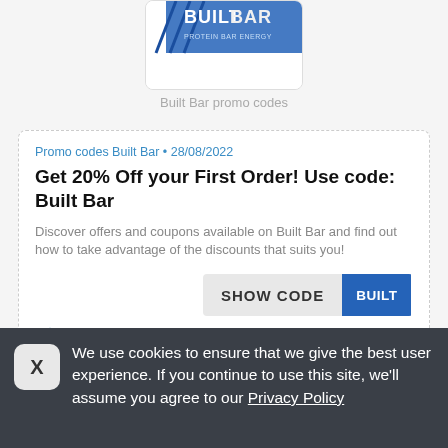[Figure (logo): Built Bar logo on a white card with blue diagonal stripe design and bold text BUILT BAR]
Built Bar promo codes
Promo codes Built Bar • 28/08/2022
Get 20% Off your First Order! Use code: Built Bar
Discover offers and coupons available on Built Bar and find out how to take advantage of the discounts that suits you!
SHOW CODE  BUILT
Share   0 times used
We use cookies to ensure that we give the best user experience. If you continue to use this site, we'll assume you agree to our Privacy Policy